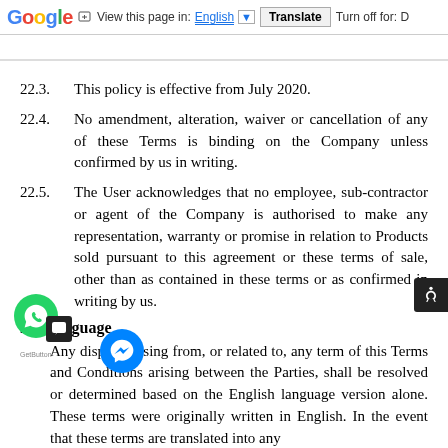Google | View this page in: English | Translate | Turn off for: D
22.3.	This policy is effective from July 2020.
22.4.	No amendment, alteration, waiver or cancellation of any of these Terms is binding on the Company unless confirmed by us in writing.
22.5.	The User acknowledges that no employee, sub-contractor or agent of the Company is authorised to make any representation, warranty or promise in relation to Products sold pursuant to this agreement or these terms of sale, other than as contained in these terms or as confirmed in writing by us.
23. Language
23.1.	Any dispute arising from, or related to, any term of this Terms and Conditions arising between the Parties, shall be resolved or determined based on the English language version alone. These terms were originally written in English. In the event that these terms are translated into any